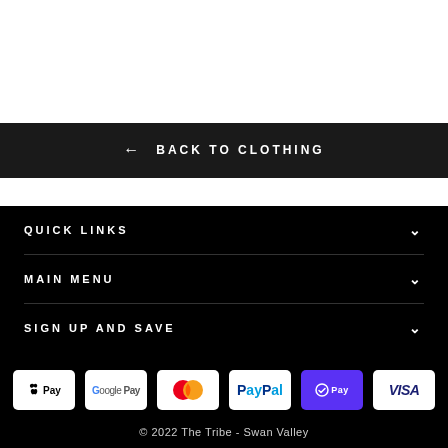← BACK TO CLOTHING
QUICK LINKS
MAIN MENU
SIGN UP AND SAVE
[Figure (other): Payment method icons: Apple Pay, Google Pay, Mastercard, PayPal, Shop Pay, Visa]
© 2022 The Tribe - Swan Valley